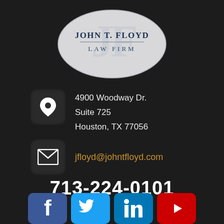[Figure (logo): John T. Floyd Law Firm oval logo with 'JF' monogram watermark and dark blue serif text reading 'JOHN T. FLOYD LAW FIRM']
4900 Woodway Dr.
Suite 725
Houston, TX 77056
jfloyd@johntfloyd.com
713-224-0101
[Figure (infographic): Social media icons row: Facebook, Twitter, LinkedIn, YouTube]